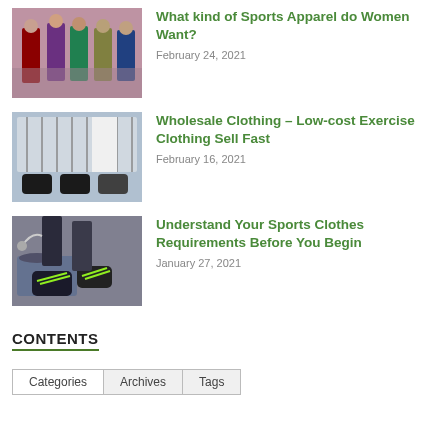[Figure (photo): Group of women in colorful sports apparel posing together]
What kind of Sports Apparel do Women Want?
February 24, 2021
[Figure (photo): Wholesale clothing on hangers and on the floor including shoes]
Wholesale Clothing – Low-cost Exercise Clothing Sell Fast
February 16, 2021
[Figure (photo): Sports clothes laid out with shoes and athletic gear on floor]
Understand Your Sports Clothes Requirements Before You Begin
January 27, 2021
CONTENTS
Categories	Archives	Tags